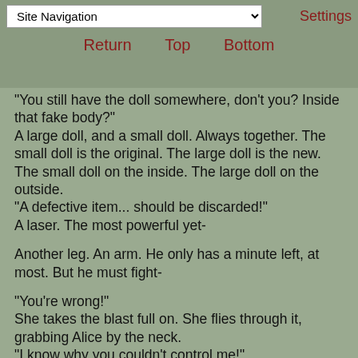Site Navigation | Return | Top | Bottom | Settings
"You still have the doll somewhere, don't you? Inside that fake body?"
A large doll, and a small doll. Always together. The small doll is the original. The large doll is the new. The small doll on the inside. The large doll on the outside.
"A defective item... should be discarded!"
A laser. The most powerful yet-

Another leg. An arm. He only has a minute left, at most. But he must fight-

"You're wrong!"
She takes the blast full on. She flies through it, grabbing Alice by the neck.
"I know why you couldn't control me!"
The doll is damaged. There are holes in the body. She ignores them.
"I have a spirit! You can't control me because I have a will!"